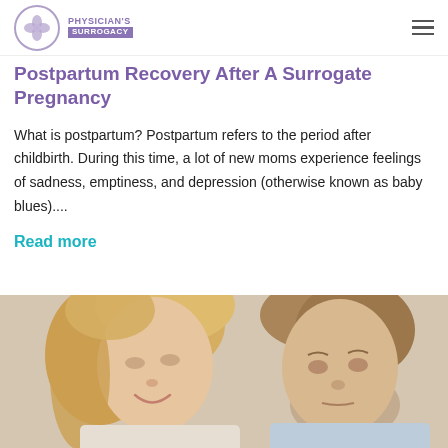Physician's Surrogacy
March 26, 2021
Postpartum Recovery After A Surrogate Pregnancy
What is postpartum? Postpartum refers to the period after childbirth. During this time, a lot of new moms experience feelings of sadness, emptiness, and depression (otherwise known as baby blues)....
Read more
[Figure (photo): A smiling blonde woman and a man looking downward, appearing to be a couple, photographed close up]